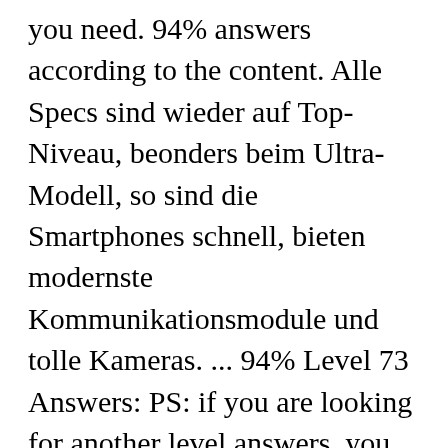you need. 94% answers according to the content. Alle Specs sind wieder auf Top-Niveau, beonders beim Ultra-Modell, so sind die Smartphones schnell, bieten modernste Kommunikationsmodule und tolle Kameras. ... 94% Level 73 Answers: PS: if you are looking for another level answers, you will find them in the below topic : Answers for 94%. Cette solution du 73e niveau pour le jeu mobile 94% vous donne toutes les réponses autour des thèmes "Animal domestique", "Rongeurs" ainsi que les mots qui ont été le plus donnés en regardant la photo d'un couple de mariés.Réponses du niveau 73. Gameanswer © 2016-2020 - All rights Reserved, 94% Level 73 [ Answers for the Questions ], 94% Level 58 [